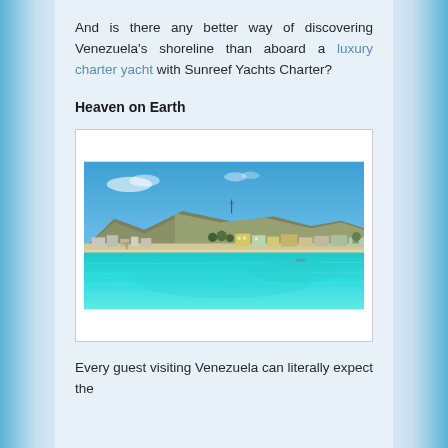And is there any better way of discovering Venezuela's shoreline than aboard a luxury charter yacht with Sunreef Yachts Charter?
Heaven on Earth
[Figure (photo): A tropical coastal scene in Venezuela showing turquoise clear water in the foreground, a white sandy beach in the middle ground, colorful buildings along the shoreline, and green hills/mountains in the background under a bright blue sky with sparse clouds.]
Every guest visiting Venezuela can literally expect the